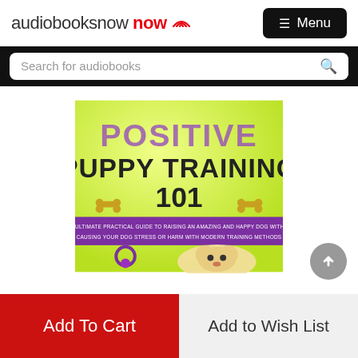audiobooksnow
Search for audiobooks
[Figure (illustration): Book cover for 'Positive Puppy Training 101' — text in purple and black on yellow-green background with puppy image and subtitle: THE ULTIMATE PRACTICAL GUIDE TO RAISING AN AMAZING AND HAPPY DOG WITHOUT CAUSING YOUR DOG STRESS OR HARM WITH MODERN TRAINING METHODS]
Add To Cart
Add to Wish List